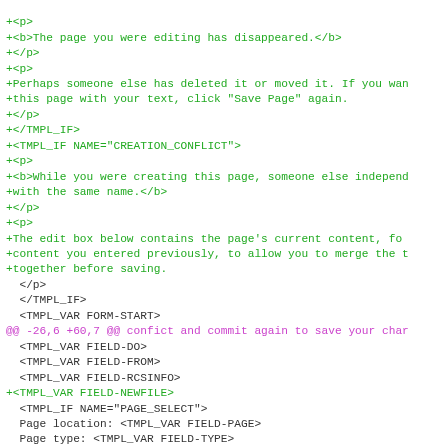Code diff showing template changes including +<p>, bold text additions, TMPL_IF blocks, and @@ diff headers